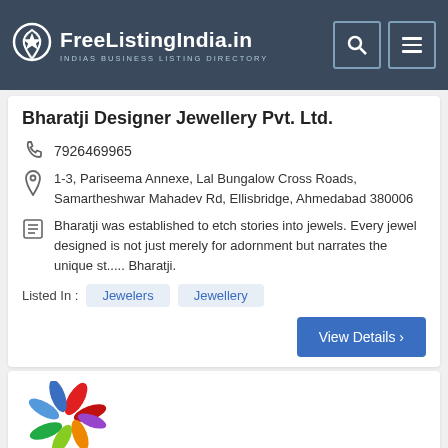FreeListingIndia.in — INDIAS BUSINESS LISTING DIRECTORY
Bharatji Designer Jewellery Pvt. Ltd.
7926469965
1-3, Pariseema Annexe, Lal Bungalow Cross Roads, Samartheshwar Mahadev Rd, Ellisbridge, Ahmedabad 380006
Bharatji was established to etch stories into jewels. Every jewel designed is not just merely for adornment but narrates the unique st..... Bharatji.
Listed In : Jewelers Jewellery
View Details ›
[Figure (logo): Colorful flower/leaf logo mark for a business listing]